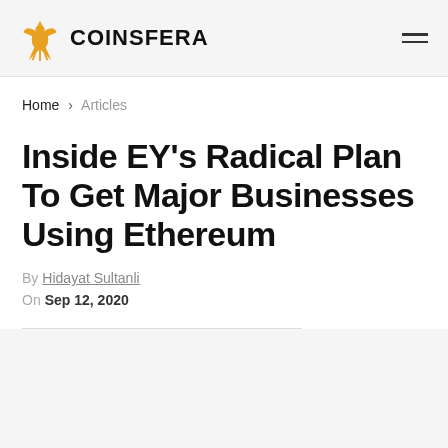COINSFERA
Home > Articles
Inside EY’s Radical Plan To Get Major Businesses Using Ethereum
By Hidayat Sultanli
On Sep 12, 2020